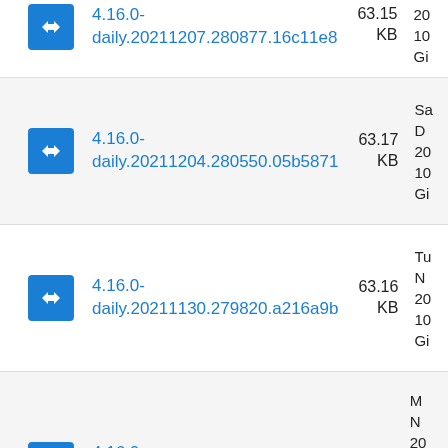4.16.0-daily.20211207.280877.16c11e8 63.15 KB
4.16.0-daily.20211204.280550.05b5871 63.17 KB
4.16.0-daily.20211130.279820.a216a9b 63.16 KB
4.16.0-daily.20211122.278783.af6a753 63.18 KB